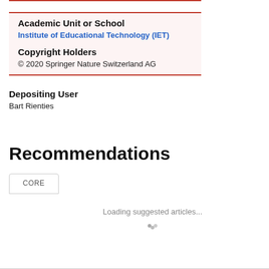| Academic Unit or School |  |
| --- | --- |
| Institute of Educational Technology (IET) |  |
| Copyright Holders |  |
| © 2020 Springer Nature Switzerland AG |  |
Depositing User
Bart Rienties
Recommendations
CORE
Loading suggested articles...